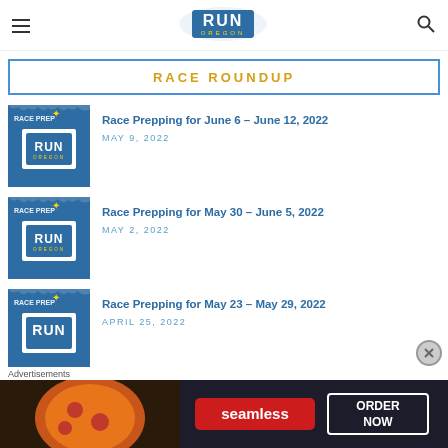Run Oregon
RACE ROUNDUP
Race Prepping for June 6 – June 12, 2022 | MAY 9, 2022
Race Prepping for May 30 – June 5, 2022 | MAY 2, 2022
Race Prepping for May 23 – May 29, 2022 | APRIL 25, 2022
Advertisements
[Figure (photo): Seamless pizza advertisement with 'ORDER NOW' button]